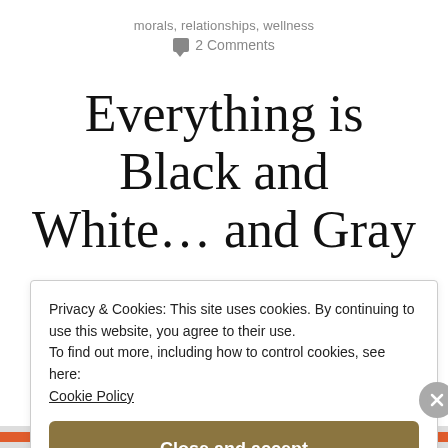morals, relationships, wellness
2 Comments
Everything is Black and White… and Gray
Privacy & Cookies: This site uses cookies. By continuing to use this website, you agree to their use.
To find out more, including how to control cookies, see here:
Cookie Policy
Close and accept